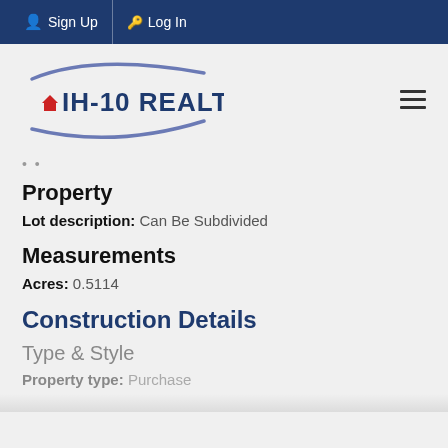Sign Up  Log In
[Figure (logo): IH-10 Realty logo with swoosh graphic and house icon]
Property
Lot description: Can Be Subdivided
Measurements
Acres: 0.5114
Construction Details
Type & Style
Property type: Purchase